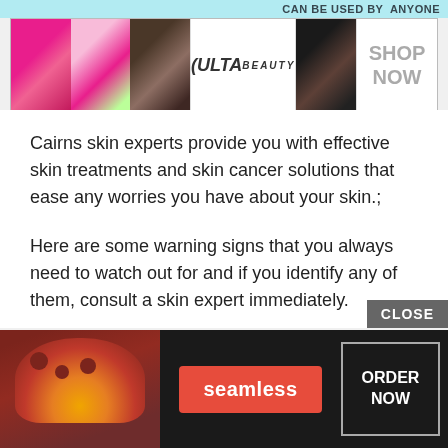[Figure (screenshot): ULTA beauty advertisement banner with cosmetic product images showing lipstick, makeup brush, eye makeup, ULTA logo, and 'SHOP NOW' button. Top strip reads 'CAN BE USED BY ANYONE'.]
Cairns skin experts provide you with effective skin treatments and skin cancer solutions that ease any worries you have about your skin.;
Here are some warning signs that you always need to watch out for and if you identify any of them, consult a skin expert immediately.
Read Also: How Serious Is Basal Cell Skin Cancer
[Figure (screenshot): Seamless food delivery advertisement banner with pizza image, red 'seamless' button, and 'ORDER NOW' button with 'CLOSE' button overlay. Partial 'How' text visible behind.]